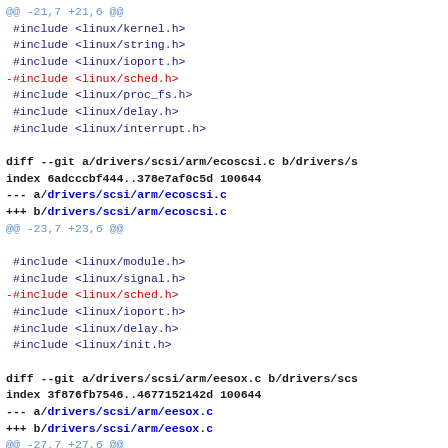@@ -21,7 +21,6 @@
 #include <linux/kernel.h>
 #include <linux/string.h>
 #include <linux/ioport.h>
-#include <linux/sched.h>
 #include <linux/proc_fs.h>
 #include <linux/delay.h>
 #include <linux/interrupt.h>
diff --git a/drivers/scsi/arm/ecoscsi.c b/drivers/s
index 6adcccbf444..378e7af0c5d 100644
--- a/drivers/scsi/arm/ecoscsi.c
+++ b/drivers/scsi/arm/ecoscsi.c
@@ -23,7 +23,6 @@

 #include <linux/module.h>
 #include <linux/signal.h>
-#include <linux/sched.h>
 #include <linux/ioport.h>
 #include <linux/delay.h>
 #include <linux/init.h>
diff --git a/drivers/scsi/arm/eesox.c b/drivers/scs
index 3f876fb7546..4677152142d 100644
--- a/drivers/scsi/arm/eesox.c
+++ b/drivers/scsi/arm/eesox.c
@@ -27,7 +27,6 @@
 #include <linux/kernel.h>
 #include <linux/string.h>
 #include <linux/ioport.h>
-#include <linux/sched.h>